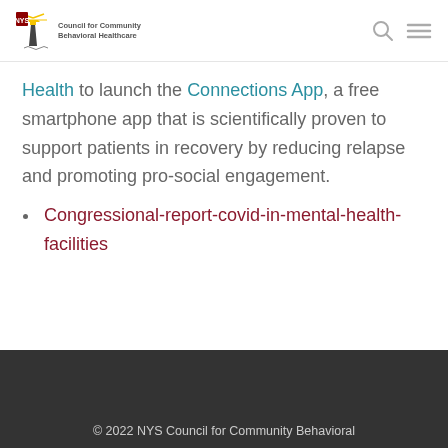NYS Council for Community Behavioral Healthcare logo with search and menu icons
Health to launch the Connections App, a free smartphone app that is scientifically proven to support patients in recovery by reducing relapse and promoting pro-social engagement.
Congressional-report-covid-in-mental-health-facilities
© 2022 NYS Council for Community Behavioral